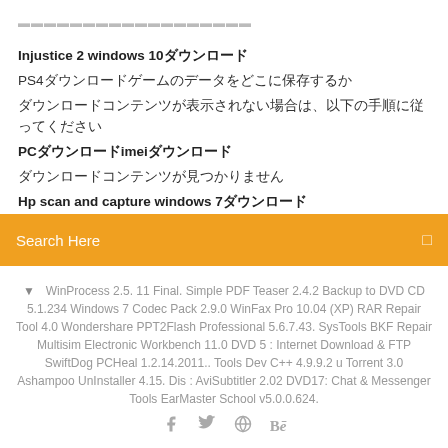...
Injustice 2 windows 10ダウンロード
PS4ダウンロードゲームのデータをどこに保存するか
ダウンロードコンテンツが表示されない場合は、以下の手順に従ってください
PCダウンロードimeiダウンロード
ダウンロードコンテンツが見つかりません
Hp scan and capture windows 7ダウンロード
Search Here
↓ WinProcess 2.5. 11 Final. Simple PDF Teaser 2.4.2 Backup to DVD CD 5.1.234 Windows 7 Codec Pack 2.9.0 WinFax Pro 10.04 (XP) RAR Repair Tool 4.0 Wondershare PPT2Flash Professional 5.6.7.43. SysTools BKF Repair Multisim Electronic Workbench 11.0 DVD 5 : Internet Download & FTP SwiftDog PCHeal 1.2.14.2011.. Tools Dev C++ 4.9.9.2 u Torrent 3.0 Ashampoo UnInstaller 4.15. Dis : AviSubtitler 2.02 DVD17: Chat & Messenger Tools EarMaster School v5.0.0.624.
f  ✦  Bē